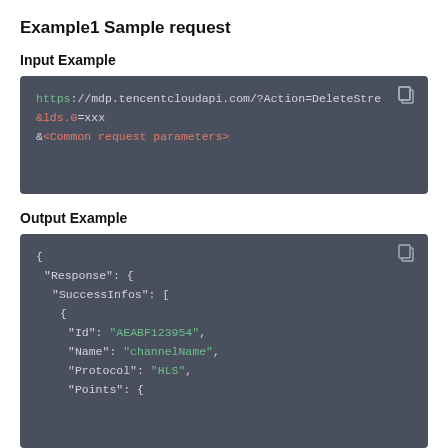Example1 Sample request
Input Example
[Figure (screenshot): Code block showing HTTP GET request: https://mdp.tencentcloudapi.com/?Action=DeleteStre &lds.0=xxx &<Common request parameters>]
Output Example
[Figure (screenshot): Code block showing JSON output with Response > SuccessInfos array containing Id: AEABF123954, Name: channelName, Protocol: HLS, Points: {]